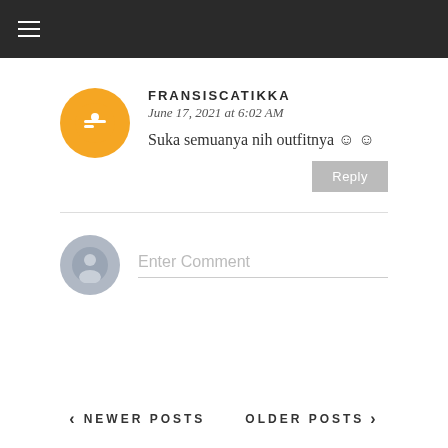≡
FRANSISCATIKKA
June 17, 2021 at 6:02 AM
Suka semuanya nih outfitnya ☺☺
Enter Comment
< NEWER POSTS   OLDER POSTS >